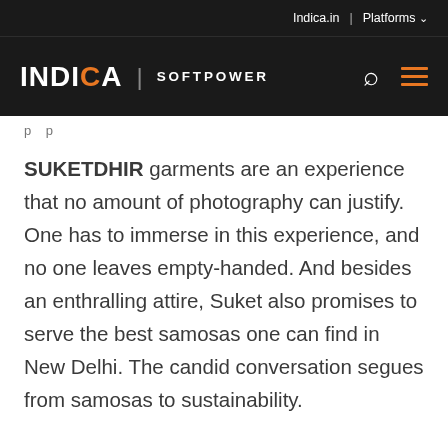Indica.in | Platforms
INDICA | SOFTPOWER
SUKETDHIR garments are an experience that no amount of photography can justify. One has to immerse in this experience, and no one leaves empty-handed. And besides an enthralling attire, Suket also promises to serve the best samosas one can find in New Delhi. The candid conversation segues from samosas to sustainability.